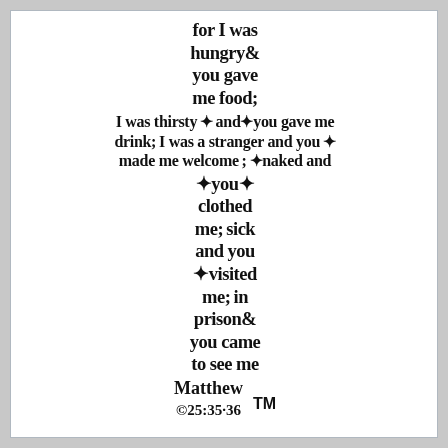[Figure (illustration): Text arranged in the shape of a cross in Gothic/blackletter font. The text reads a Bible verse: Matthew 25:35-36. The top vertical bar reads 'for I was hungry and you gave me food;' The horizontal bar reads 'I was thirsty, and you gave me drink; I was a stranger and you made me welcome; naked and' The bottom vertical bar continues: 'you clothed me; sick and you visited me; in prison and you came to see me Matthew 25:35-36 TM']